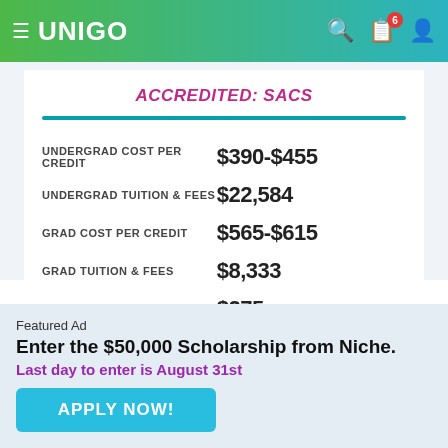UNIGO
ACCREDITED: SACS
|  |  |
| --- | --- |
| UNDERGRAD COST PER CREDIT | $390-$455 |
| UNDERGRAD TUITION & FEES | $22,584 |
| GRAD COST PER CREDIT | $565-$615 |
| GRAD TUITION & FEES | $8,333 |
| MILITARY COST PER CREDIT | $275 |
Featured Ad
Enter the $50,000 Scholarship from Niche.
Last day to enter is August 31st
APPLY NOW!